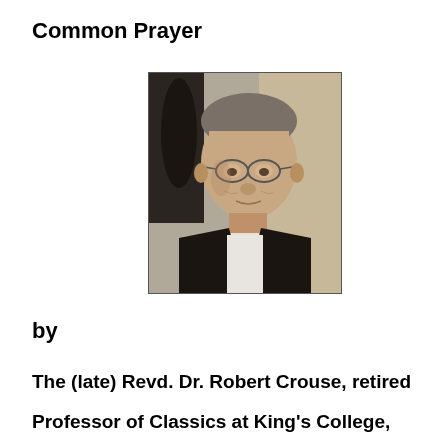Common Prayer
[Figure (photo): Black and white photograph of an elderly man wearing clerical collar and dark stole, seated, with glasses.]
by
The (late) Revd. Dr. Robert Crouse, retired Professor of Classics at King's College,